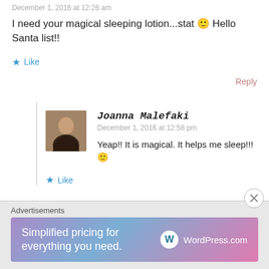December 1, 2016 at 12:26 am
I need your magical sleeping lotion...stat 🙂 Hello Santa list!!
Like
Reply
Joanna Malefaki
December 1, 2016 at 12:58 pm
Yeap!! It is magical. It helps me sleep!!! 🙂
Like
Reply
Advertisements
[Figure (infographic): WordPress.com advertisement banner with gradient purple-blue-pink background reading 'Simplified pricing for everything you need.' with WordPress.com logo]